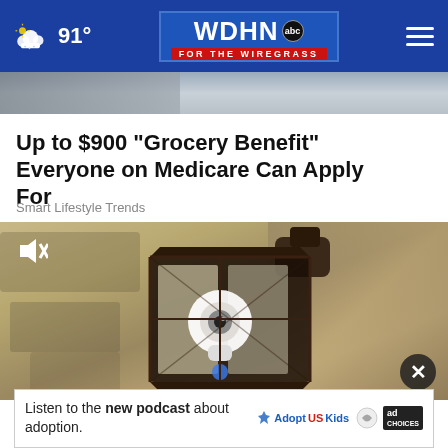WDHN abc FOR THE WIREGRASS — 91°
[Figure (screenshot): Partial hero image strip at top of article, showing roof/overhang in grey tones]
Up to $900 "Grocery Benefit" Everyone on Medicare Can Apply For
Smart Lifestyle Trends
[Figure (screenshot): Video thumbnail showing a security camera inside a lantern-style outdoor light fixture mounted on a stone wall, with a mute icon in the top-left corner and a close (X) button in the bottom-right]
Listen to the new podcast about adoption.